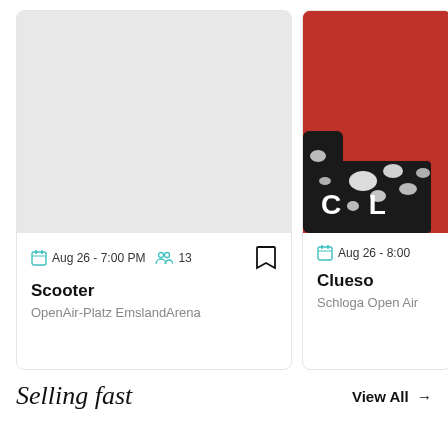[Figure (photo): Event card showing gray placeholder image for Scooter concert]
Aug 26 - 7:00 PM
13
Scooter
OpenAir-Platz EmslandArena
[Figure (photo): Event card with red background and black/white clothing, letters 'C L' visible, for Clueso concert]
Aug 26 - 8:00
Clueso
Schloga Open Air
Selling fast
View All →